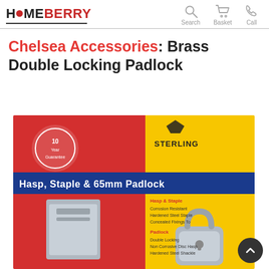HomeBerry — Search, Basket, Call
Chelsea Accessories: Brass Double Locking Padlock
[Figure (photo): Product photo of a Sterling 'Hasp, Staple & 65mm Padlock' set in retail packaging with red and yellow card backing. The package shows a hasp/staple and a padlock (Brass Double Locking Padlock). Text on packaging includes 'STERLING', 'Hasp, Staple & 65mm Padlock', 'Padlock: Double Locking, Non Corrosive Disc Hasp, Hardened Steel Shackle'.]